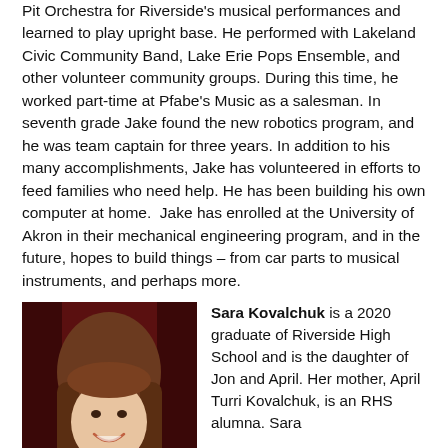Pit Orchestra for Riverside's musical performances and learned to play upright base. He performed with Lakeland Civic Community Band, Lake Erie Pops Ensemble, and other volunteer community groups. During this time, he worked part-time at Pfabe's Music as a salesman. In seventh grade Jake found the new robotics program, and he was team captain for three years. In addition to his many accomplishments, Jake has volunteered in efforts to feed families who need help. He has been building his own computer at home. Jake has enrolled at the University of Akron in their mechanical engineering program, and in the future, hopes to build things – from car parts to musical instruments, and perhaps more.
[Figure (photo): Portrait photo of Sara Kovalchuk, a young woman with long brown hair, smiling, against a dark red background.]
Sara Kovalchuk is a 2020 graduate of Riverside High School and is the daughter of Jon and April. Her mother, April Turri Kovalchuk, is an RHS alumna. Sara